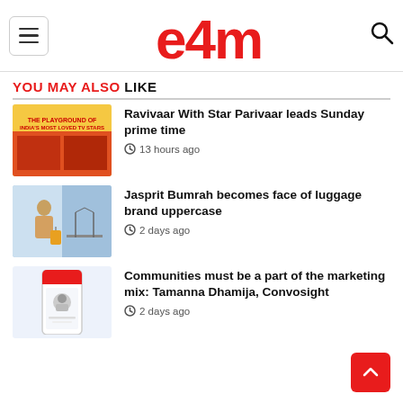e4m
YOU MAY ALSO LIKE
Ravivaar With Star Parivaar leads Sunday prime time — 13 hours ago
Jasprit Bumrah becomes face of luggage brand uppercase — 2 days ago
Communities must be a part of the marketing mix: Tamanna Dhamija, Convosight — 2 days ago